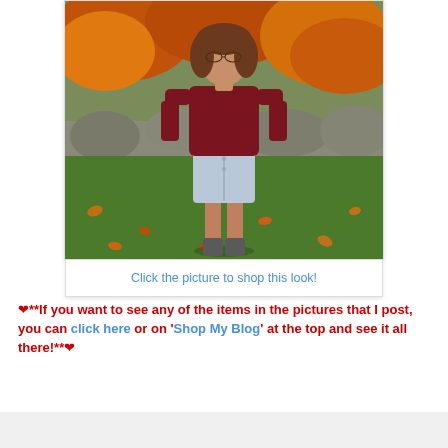[Figure (photo): Young woman standing outdoors in an autumn park setting, wearing a dark red/burgundy long-sleeve top and a light blue denim mini skirt with gray ankle boots. Fall foliage and green grass visible in background.]
Click the picture to shop this look!
❤**If you want to see any of the items in the pictures that I post, you can click here or on 'Shop My Blog' at the top and see it all there!**❤